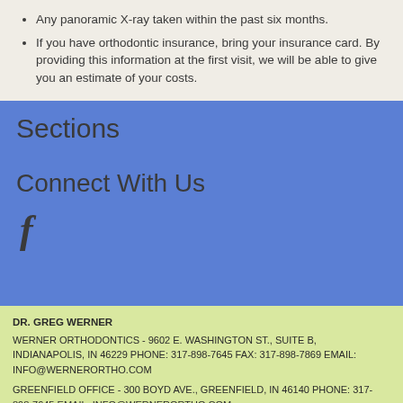Any panoramic X-ray taken within the past six months.
If you have orthodontic insurance, bring your insurance card. By providing this information at the first visit, we will be able to give you an estimate of your costs.
Sections
Connect With Us
[Figure (logo): Facebook icon (f letter)]
DR. GREG WERNER
WERNER ORTHODONTICS - 9602 E. WASHINGTON ST., SUITE B, INDIANAPOLIS, IN 46229 PHONE: 317-898-7645 FAX: 317-898-7869 EMAIL: INFO@WERNERORTHO.COM
GREENFIELD OFFICE - 300 BOYD AVE., GREENFIELD, IN 46140 PHONE: 317-898-7645 EMAIL: INFO@WERNERORTHO.COM
2022© ALL RIGHTS RESERVED | WEBSITE DESIGN BY: INTRADO | Login